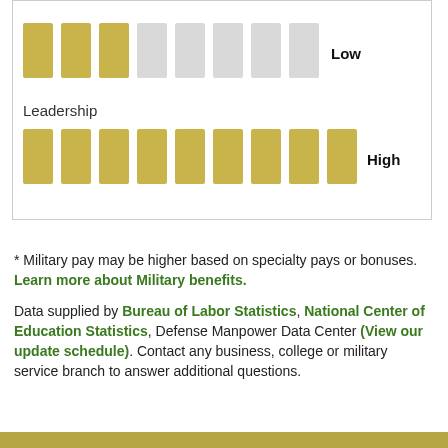[Figure (infographic): Partial view of a bar/icon rating chart showing two rows: top row labeled 'Low' with 3 of 8 gold bars filled; bottom row labeled 'Leadership' with 'High' rating showing 9 of 10 gold bars filled.]
* Military pay may be higher based on specialty pays or bonuses. Learn more about Military benefits.
Data supplied by Bureau of Labor Statistics, National Center of Education Statistics, Defense Manpower Data Center (View our update schedule). Contact any business, college or military service branch to answer additional questions.